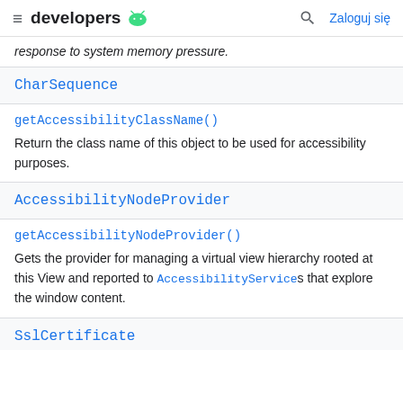developers (android logo) | search | Zaloguj się
response to system memory pressure.
CharSequence
getAccessibilityClassName()
Return the class name of this object to be used for accessibility purposes.
AccessibilityNodeProvider
getAccessibilityNodeProvider()
Gets the provider for managing a virtual view hierarchy rooted at this View and reported to AccessibilityServices that explore the window content.
SslCertificate